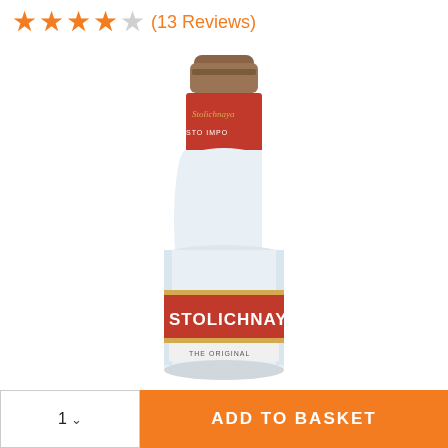★★★★☆ (13 Reviews)
[Figure (photo): Stolichnaya vodka bottle with red label and brown cap, showing partial text 'STOLICHNAYA' and 'THE ORIGINAL' on the lower label, on a white background.]
1 ∨   ADD TO BASKET